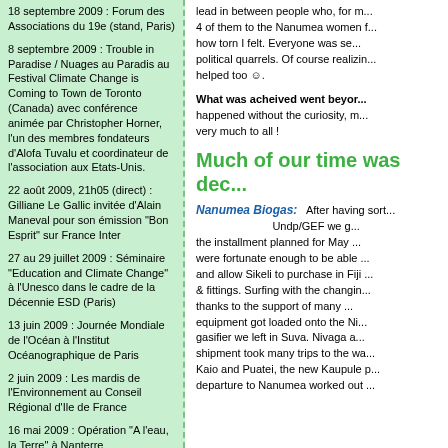18 septembre 2009 : Forum des Associations du 19e (stand, Paris)
8 septembre 2009 : Trouble in Paradise / Nuages au Paradis au Festival Climate Change is Coming to Town de Toronto (Canada) avec conférence animée par Christopher Horner, l'un des membres fondateurs d'Alofa Tuvalu et coordinateur de l'association aux Etats-Unis.
22 août 2009, 21h05 (direct) : Gilliane Le Gallic invitée d'Alain Maneval pour son émission "Bon Esprit" sur France Inter
27 au 29 juillet 2009 : Séminaire "Education and Climate Change" à l'Unesco dans le cadre de la Décennie ESD (Paris)
13 juin 2009 : Journée Mondiale de l'Océan à l'Institut Océanographique de Paris
2 juin 2009 : Les mardis de l'Environnement au Conseil Régional d'Ile de France
16 mai 2009 : Opération "A l'eau, la Terre" à Nanterre
lead in between people who, for m... 4 of them to the Nanumea women f... how torn I felt. Everyone was se... political quarrels. Of course realizin... helped too ☺.
What was acheived went beyo... happened without the curiosity, m... very much to all !
Much of our time was dec...
Nanumea Biogas: After having sort... Undp/GEF we g... the installment planned for May ... were fortunate enough to be able ... and allow Sikeli to purchase in Fiji ... & fittings. Surfing with the changin... thanks to the support of many ... equipment got loaded onto the Ni... gasifier we left in Suva. Nivaga a... shipment took many trips to the wa... Kaio and Puatei, the new Kaupule p... departure to Nanumea worked out ...